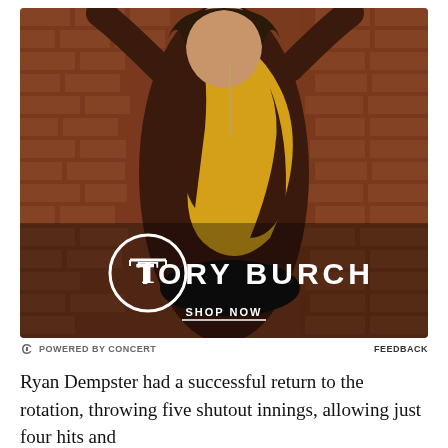[Figure (photo): Tory Burch advertisement featuring a model in a brown and yellow color-block long-sleeve dress with arms raised, posed against a brick wall background. The Tory Burch logo (circular T monogram) and brand name appear in white text, with a 'SHOP NOW' call-to-action below.]
POWERED BY CONCERT   FEEDBACK
Ryan Dempster had a successful return to the rotation, throwing five shutout innings, allowing just four hits and